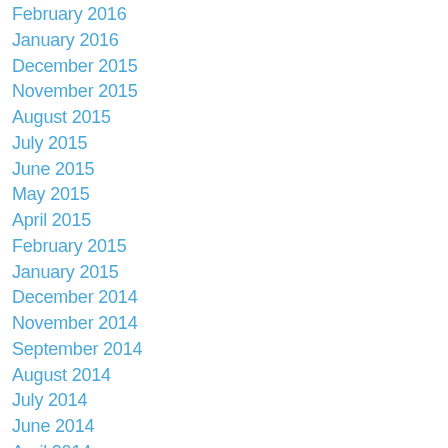February 2016
January 2016
December 2015
November 2015
August 2015
July 2015
June 2015
May 2015
April 2015
February 2015
January 2015
December 2014
November 2014
September 2014
August 2014
July 2014
June 2014
April 2014
March 2014
February 2014
January 2014